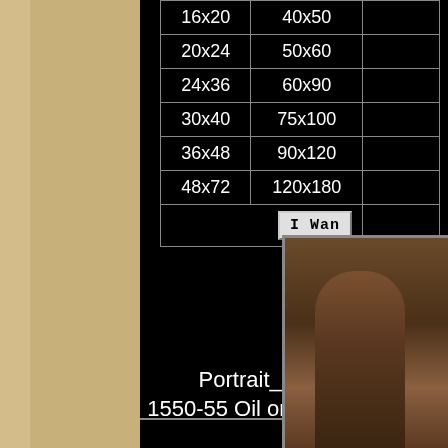| inches | cm |  |
| --- | --- | --- |
| 16x20 | 40x50 |  |
| 20x24 | 50x60 |  |
| 24x36 | 60x90 |  |
| 30x40 | 75x100 |  |
| 36x48 | 90x120 |  |
| 48x72 | 120x180 |  |
|  | I Wan... |  |
Portrait_of_Andre... 1550-55 Oil on canvas, 115 ...
[Figure (photo): Partial view of a classical oil painting portrait, cropped at right edge, showing a figure holding what appears to be a book or manuscript, dark background, Renaissance style]